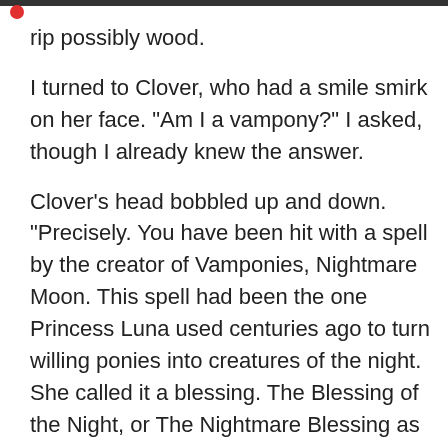rip possibly wood.
I turned to Clover, who had a smile smirk on her face. "Am I a vampony?" I asked, though I already knew the answer.
Clover's head bobbled up and down. "Precisely. You have been hit with a spell by the creator of Vamponies, Nightmare Moon. This spell had been the one Princess Luna used centuries ago to turn willing ponies into creatures of the night. She called it a blessing. The Blessing of the Night, or The Nightmare Blessing as you could call it."
I nodded my head, tears filling my eyes. "So, am I a monster? Oh who am I kidding, of course I am a monster! I have to drink blood!"